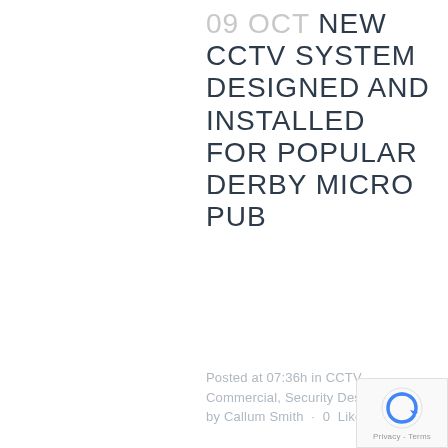09 OCT NEW CCTV SYSTEM DESIGNED AND INSTALLED FOR POPULAR DERBY MICRO PUB
Posted at 07:36h in CCTV, Commercial, Security Design by Callum Smith · 0 Likes
CS Security Solutions Ltd recently completed a full CCTV system upgrade and installation of additional HD
[Figure (logo): reCAPTCHA badge with circular arrow icon, Privacy - Terms text]